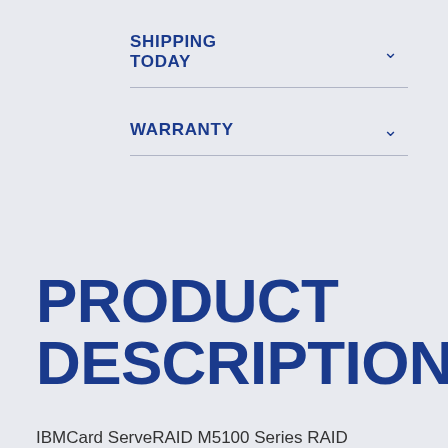SHIPPING TODAY
WARRANTY
PRODUCT DESCRIPTION
IBMCard ServeRAID M5100 Series RAID Controller (+1GB22p 512MB Flash